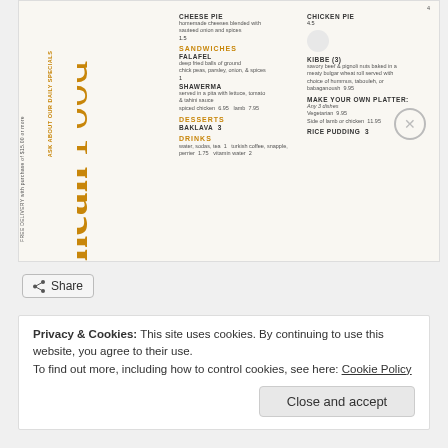[Figure (other): Restaurant menu card for Mediterranean food with rotated title text 'ranean Food' in orange, sidebar text with website and address info, and menu items in two columns]
CHEESE PIE - homemade cheeses blended with sauteed onion and spices 1.5
SANDWICHES
FALAFEL - deep fried balls of ground chick peas, parsley, onion, & spices 1
SHAWERMA - served in a pita with lettuce, tomato & tahini sauce; spiced chicken 6.95  lamb 7.95
DESSERTS
BAKLAVA 3
DRINKS
water, sodas, tea 1   turkish coffee, snapple, perrier 1.75   vitamin water 2
CHICKEN PIE 4.5
KIBBE (3) - savory beef & pignoli nuts baked in a meaty bulgar wheat roll served with choice of hummus, tabouleh, or babaganoush 9.95
MAKE YOUR OWN PLATTER: Any 3 dishes Vegetarian 9.95 Side of lamb or chicken 11.95
RICE PUDDING 3
Share
Privacy & Cookies: This site uses cookies. By continuing to use this website, you agree to their use. To find out more, including how to control cookies, see here: Cookie Policy
Close and accept